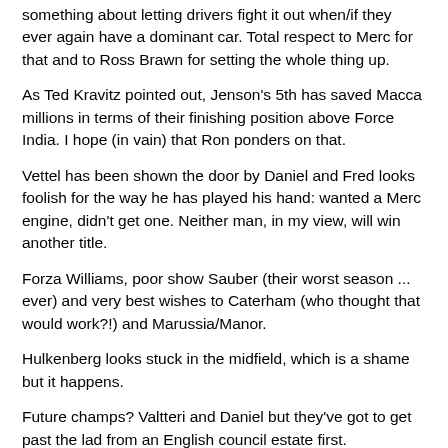something about letting drivers fight it out when/if they ever again have a dominant car. Total respect to Merc for that and to Ross Brawn for setting the whole thing up.
As Ted Kravitz pointed out, Jenson's 5th has saved Macca millions in terms of their finishing position above Force India. I hope (in vain) that Ron ponders on that.
Vettel has been shown the door by Daniel and Fred looks foolish for the way he has played his hand: wanted a Merc engine, didn't get one. Neither man, in my view, will win another title.
Forza Williams, poor show Sauber (their worst season ... ever) and very best wishes to Caterham (who thought that would work?!) and Marussia/Manor.
Hulkenberg looks stuck in the midfield, which is a shame but it happens.
Future champs? Valtteri and Daniel but they've got to get past the lad from an English council estate first.